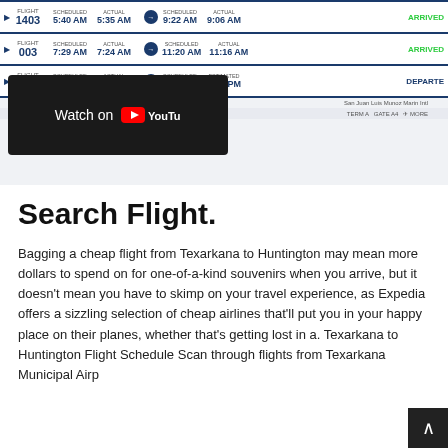[Figure (screenshot): Flight tracking table screenshot showing flights 1403, 003, and 403 with scheduled/actual departure and arrival times. A YouTube overlay appears in the bottom-left of the screenshot.]
Search Flight.
Bagging a cheap flight from Texarkana to Huntington may mean more dollars to spend on for one-of-a-kind souvenirs when you arrive, but it doesn't mean you have to skimp on your travel experience, as Expedia offers a sizzling selection of cheap airlines that'll put you in your happy place on their planes, whether that's getting lost in a. Texarkana to Huntington Flight Schedule Scan through flights from Texarkana Municipal Airp